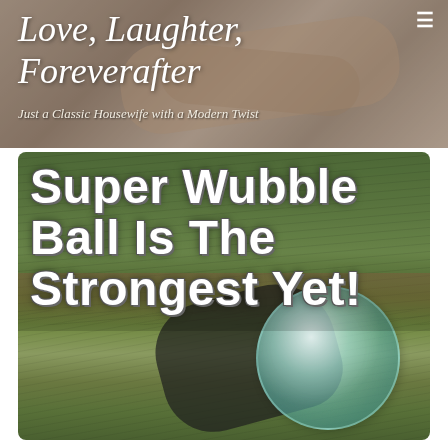Love, Laughter, Foreverafter
Just a Classic Housewife with a Modern Twist
[Figure (photo): Blog header image showing two people holding hands, with blog title 'Love, Laughter, Foreverafter' and subtitle 'Just a Classic Housewife with a Modern Twist' overlaid in white italic text]
Super Wubble Ball Is The Strongest Yet!
[Figure (photo): Outdoor photo of a young girl lying on grass holding a large light blue Wubble Ball, with bold white text overlay reading 'Super Wubble Ball Is The Strongest Yet!']